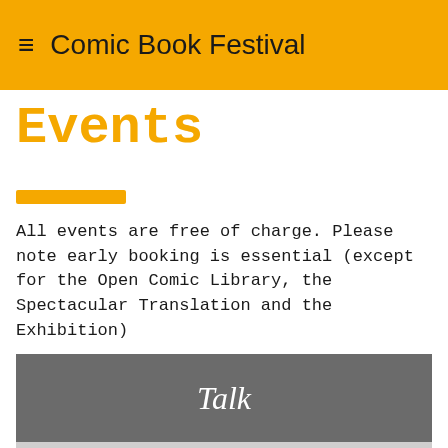Comic Book Festival
Events
All events are free of charge. Please note early booking is essential (except for the Open Comic Library, the Spectacular Translation and the Exhibition)
Talk
[Figure (photo): Partial view of a person (head/shoulders) visible at the bottom of the page]